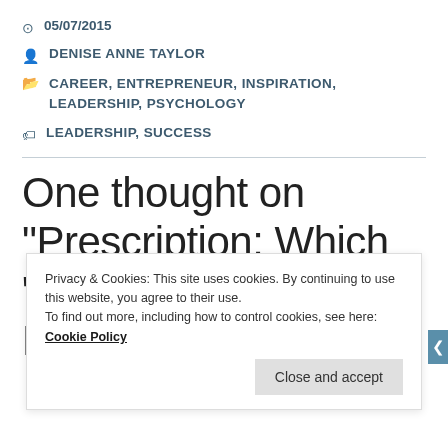05/07/2015
DENISE ANNE TAYLOR
CAREER, ENTREPRENEUR, INSPIRATION, LEADERSHIP, PSYCHOLOGY
LEADERSHIP, SUCCESS
One thought on “Prescription: Which “Road” Do You Choose?”
Privacy & Cookies: This site uses cookies. By continuing to use this website, you agree to their use.
To find out more, including how to control cookies, see here: Cookie Policy
Close and accept